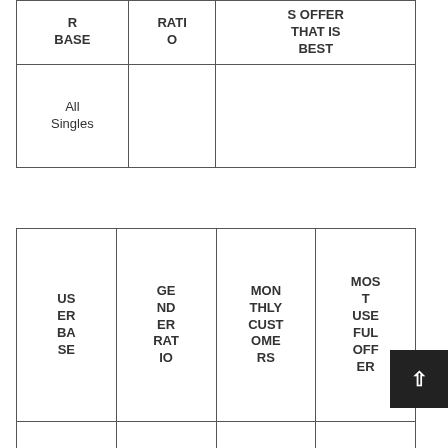| R BASE | RATIO | S OFFER THAT IS BEST |
| --- | --- | --- |
| All Singles |  |  |
| USER BASE | GENDER RATIO | MONTHLY CUSTOMERS | MOST USEFUL OFFER |
| --- | --- | --- | --- |
|  |  |  |  |